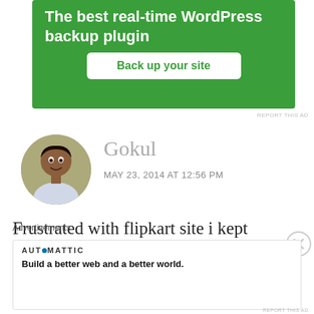[Figure (screenshot): Green advertisement banner for WordPress backup plugin with text 'The best real-time WordPress backup plugin' and a white button 'Back up your site']
REPORT THIS AD
[Figure (photo): Circular avatar photo of a man named Gokul]
Gokul
MAY 23, 2014 AT 12:56 PM
Frustrated with flipkart site i kept checking the site from 11:05 only but could not
Advertisements
[Figure (screenshot): Advertisement by Automattic with tagline 'Build a better web and a better world.']
REPORT THIS AD